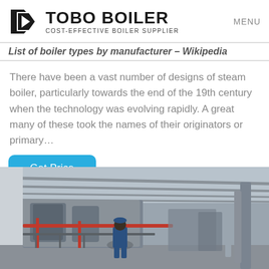TOBO BOILER COST-EFFECTIVE BOILER SUPPLIER | MENU
List of boiler types by manufacturer – Wikipedia
There have been a vast number of designs of steam boiler, particularly towards the end of the 19th century when the technology was evolving rapidly. A great many of these took the names of their originators or primary…
Get Price
[Figure (photo): Industrial boiler facility interior showing large boiler units with red piping, steel roof structure, and a worker in blue overalls standing in the foreground]